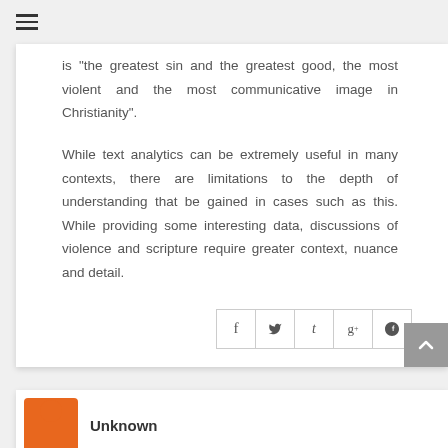is "the greatest sin and the greatest good, the most violent and the most communicative image in Christianity".
While text analytics can be extremely useful in many contexts, there are limitations to the depth of understanding that be gained in cases such as this. While providing some interesting data, discussions of violence and scripture require greater context, nuance and detail.
[Figure (other): Social share buttons: Facebook (f), Twitter, Tumblr (t), Google+ (g+), Pinterest]
Unknown